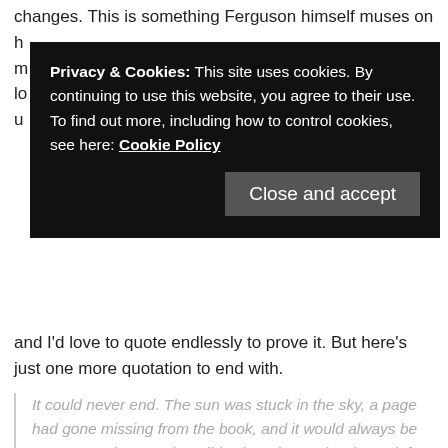changes. This is something Ferguson himself muses on in all h... m... lo... u...
[Figure (screenshot): Cookie consent overlay with black background. Text reads: 'Privacy & Cookies: This site uses cookies. By continuing to use this website, you agree to their use. To find out more, including how to control cookies, see here: Cookie Policy'. A 'Close and accept' button is shown at the bottom right.]
and I'd love to quote endlessly to prove it. But here's just one more quotation to end with.
It could never end. The sun was stuck in the sky, a page had gone missing from the book, and it would always be summer as long as they didn't breathe too hard or ask for too much, always the summer when they were nineteen and were finally, finally almost, finally perhaps almost on the brink of saying good-bye to the moment when everything was still in front of them.